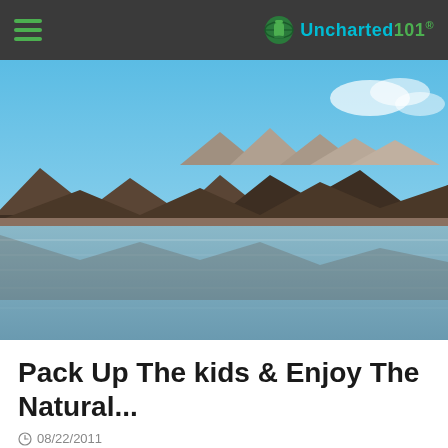Uncharted101
[Figure (photo): Landscape photo of a river or lake with rocky mountains in the background and a clear blue sky. Calm water reflects the surrounding terrain.]
Pack Up The kids & Enjoy The Natural...
08/22/2011